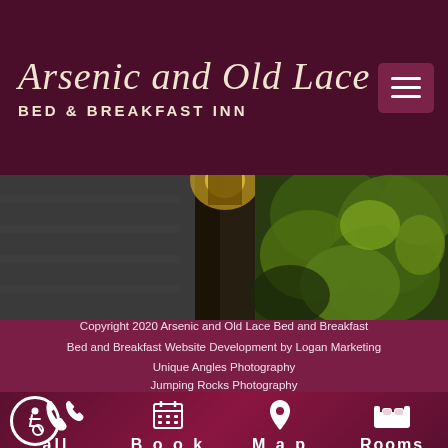Arsenic and Old Lace BED & BREAKFAST INN
[Figure (photo): Blurred outdoor photo showing a decorative lantern post, stone or brick wall, and green garden foliage]
Copyright 2020 Arsenic and Old Lace Bed and Breakfast
Bed and Breakfast Website Development by Logan Marketing
Unique Angles Photography
Jumping Rocks Photography
Call  Book  Map  Rooms